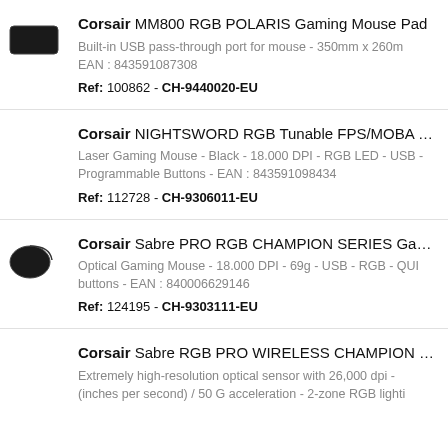Corsair MM800 RGB POLARIS Gaming Mouse Pad - Built-in USB pass-through port for mouse - 350mm x 260mm - EAN : 843591087308 - Ref: 100862 - CH-9440020-EU
Corsair NIGHTSWORD RGB Tunable FPS/MOBA Gaming Mouse - Laser Gaming Mouse - Black - 18.000 DPI - RGB LED - USB - Programmable Buttons - EAN : 843591098434 - Ref: 112728 - CH-9306011-EU
Corsair Sabre PRO RGB CHAMPION SERIES Gaming Mouse - Optical Gaming Mouse - 18.000 DPI - 69g - USB - RGB - QUICKSTRIKE buttons - EAN : 840006629146 - Ref: 124195 - CH-9303111-EU
Corsair Sabre RGB PRO WIRELESS CHAMPION SERIES - Extremely high-resolution optical sensor with 26,000 dpi - (inches per second) / 50 G acceleration - 2-zone RGB lighting